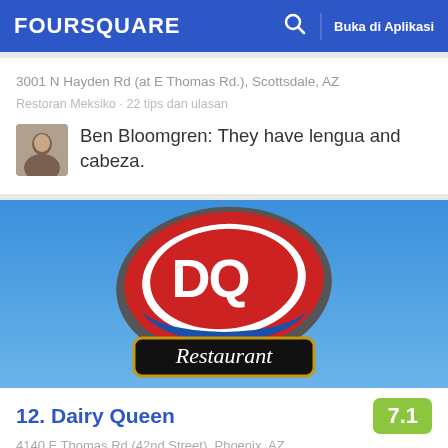FOURSQUARE  Buka di Aplikasi
3001 N Hayden Rd (at E Thomas Rd.), Scottsdale, AZ
Restoran Meksiko · 22 tips dan ulasan
Ben Bloomgren: They have lengua and cabeza.
[Figure (photo): Dairy Queen DQ Restaurant sign against blue sky]
12. Dairy Queen  7.1
4140 E Thomas Rd (42nd Street), Phoenix, AZ